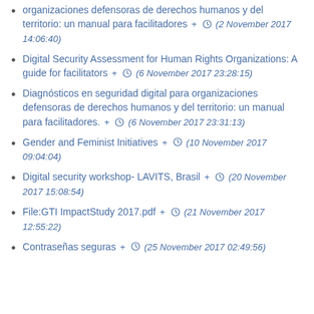organizaciones defensoras de derechos humanos y del territorio: un manual para facilitadores + (2 November 2017 14:06:40)
Digital Security Assessment for Human Rights Organizations: A guide for facilitators + (6 November 2017 23:28:15)
Diagnósticos en seguridad digital para organizaciones defensoras de derechos humanos y del territorio: un manual para facilitadores. + (6 November 2017 23:31:13)
Gender and Feminist Initiatives + (10 November 2017 09:04:04)
Digital security workshop- LAVITS, Brasil + (20 November 2017 15:08:54)
File:GTI ImpactStudy 2017.pdf + (21 November 2017 12:55:22)
Contraseñas seguras + (25 November 2017 02:49:56)